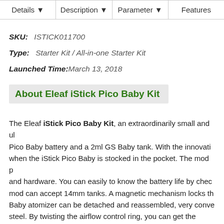Details ▼  Description ▼  Parameter ▼  Features
SKU:  ISTICK011700
Type:  Starter Kit / All-in-one Starter Kit
Launched Time: March 13, 2018
About Eleaf iStick Pico Baby Kit
The Eleaf iStick Pico Baby Kit, an extraordinarily small and ul... Pico Baby battery and a 2ml GS Baby tank. With the innovati... when the iStick Pico Baby is stocked in the pocket. The mod p... and hardware. You can easily to know the battery life by chec... mod can accept 14mm tanks. A magnetic mechanism locks th... Baby atomizer can be detached and reassembled, very conve... steel. By twisting the airflow control ring, you can get the optim... and convenient top filling solution, the tank delivers you with t...